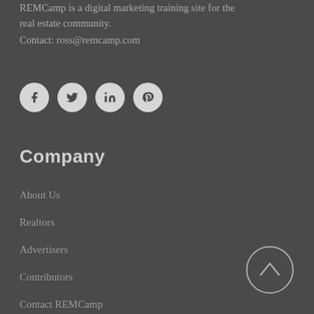REMCamp is a digital marketing training site for the real estate community.
Contact: ross@remcamp.com
[Figure (infographic): Four circular social media icons: Facebook (f), Twitter (bird), LinkedIn (in), Pinterest (p)]
Company
About Us
Realtors
Advertisers
Contributors
Contact REMCamp
[Figure (illustration): Back-to-top arrow button: circle with upward arrow inside]